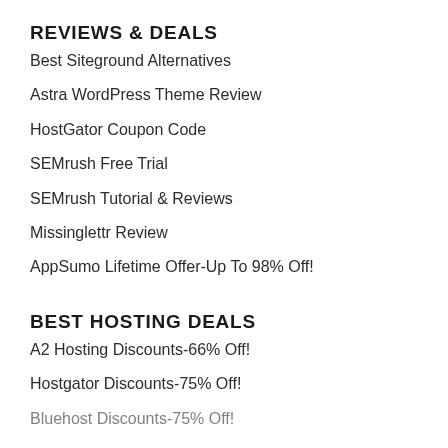REVIEWS & DEALS
Best Siteground Alternatives
Astra WordPress Theme Review
HostGator Coupon Code
SEMrush Free Trial
SEMrush Tutorial & Reviews
Missinglettr Review
AppSumo Lifetime Offer-Up To 98% Off!
BEST HOSTING DEALS
A2 Hosting Discounts-66% Off!
Hostgator Discounts-75% Off!
Bluehost Discounts-75% Off!